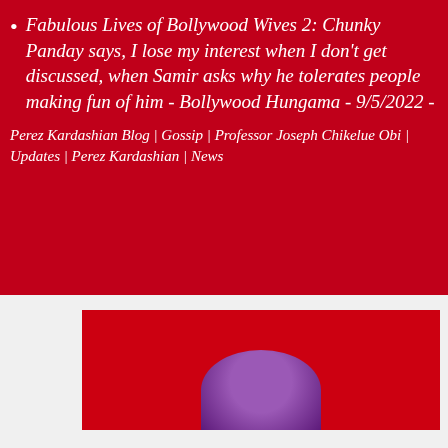Fabulous Lives of Bollywood Wives 2: Chunky Panday says, I lose my interest when I don't get discussed, when Samir asks why he tolerates people making fun of him - Bollywood Hungama - 9/5/2022 -
Perez Kardashian Blog | Gossip | Professor Joseph Chikelue Obi | Updates | Perez Kardashian | News
[Figure (photo): A dark image with a purple circular shape (partial head/figure) visible against a dark red background]